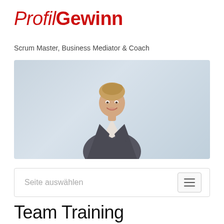ProfilGewinn
Scrum Master, Business Mediator & Coach
[Figure (photo): Professional woman in a grey blazer smiling, shown from waist up against a light blue-grey background.]
Seite auswählen
Team Training